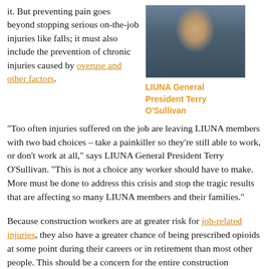it. But preventing pain goes beyond stopping serious on-the-job injuries like falls; it must also include the prevention of chronic injuries caused by overuse and other factors.
[Figure (photo): Portrait photo of LIUNA General President Terry O'Sullivan, a man in a suit and tie]
LIUNA General President Terry O'Sullivan
"Too often injuries suffered on the job are leaving LIUNA members with two bad choices – take a painkiller so they're still able to work, or don't work at all," says LIUNA General President Terry O'Sullivan. "This is not a choice any worker should have to make. More must be done to address this crisis and stop the tragic results that are affecting so many LIUNA members and their families."
Because construction workers are at greater risk for job-related injuries, they also have a greater chance of being prescribed opioids at some point during their careers or in retirement than most other people. This should be a concern for the entire construction industry, as studies show that signs of physical dependence